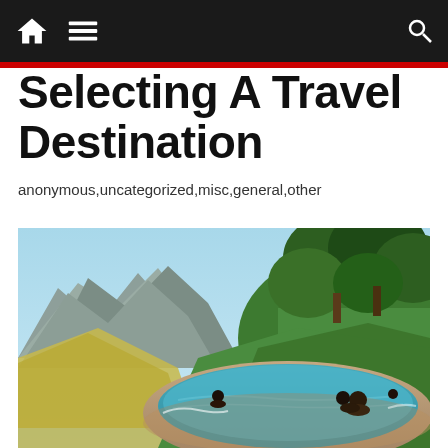Navigation bar with home, menu, dark mode, and search icons
Selecting A Travel Destination
anonymous,uncategorized,misc,general,other
[Figure (photo): People relaxing in a natural hot spring pool with turquoise water, surrounded by lush green trees and dramatic mountain scenery in the background.]